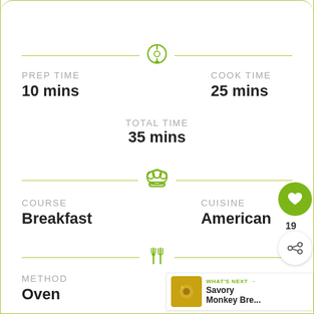[Figure (infographic): Recipe info card showing prep time 10 mins, cook time 25 mins, total time 35 mins, course Breakfast, cuisine American, method Oven, servings 12]
PREP TIME
10 mins
COOK TIME
25 mins
TOTAL TIME
35 mins
COURSE
Breakfast
CUISINE
American
METHOD
Oven
SERVINGS
12
19
WHAT'S NEXT → Savory Monkey Bre...